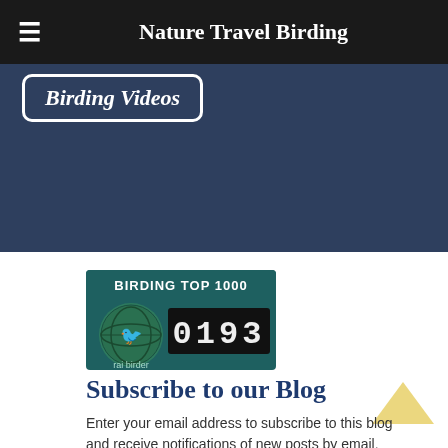Nature Travel Birding
[Figure (screenshot): Birding Videos button on dark blue background section]
[Figure (logo): Birding Top 1000 badge showing rank 0193 with rai birder logo]
Subscribe to our Blog
Enter your email address to subscribe to this blog and receive notifications of new posts by email.